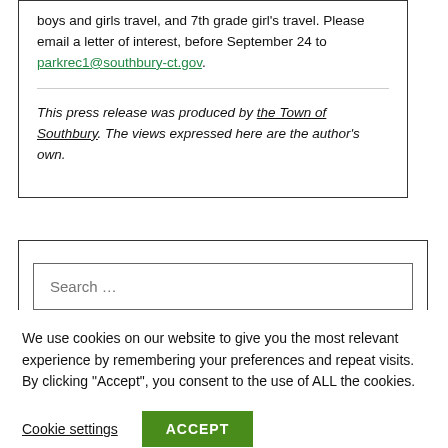boys and girls travel, and 7th grade girl's travel. Please email a letter of interest, before September 24 to parkrec1@southbury-ct.gov.
This press release was produced by the Town of Southbury. The views expressed here are the author's own.
Search ...
We use cookies on our website to give you the most relevant experience by remembering your preferences and repeat visits. By clicking "Accept", you consent to the use of ALL the cookies.
Cookie settings
ACCEPT